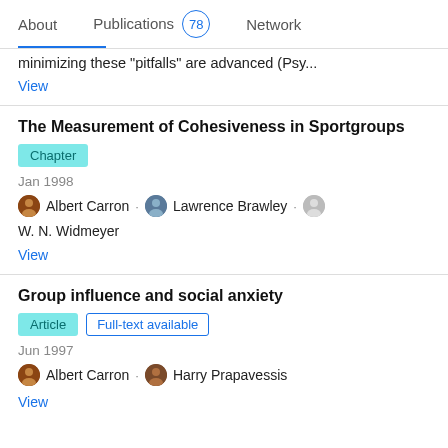About   Publications 78   Network
minimizing these "pitfalls" are advanced (Psy...
View
The Measurement of Cohesiveness in Sportgroups
Chapter   Jan 1998   Albert Carron · Lawrence Brawley · W. N. Widmeyer   View
Group influence and social anxiety
Article   Full-text available   Jun 1997   Albert Carron · Harry Prapavessis   View